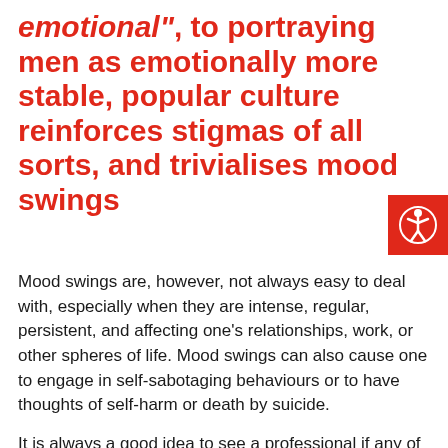emotional", to portraying men as emotionally more stable, popular culture reinforces stigmas of all sorts, and trivialises mood swings
Mood swings are, however, not always easy to deal with, especially when they are intense, regular, persistent, and affecting one’s relationships, work, or other spheres of life. Mood swings can also cause one to engage in self-sabotaging behaviours or to have thoughts of self-harm or death by suicide.
It is always a good idea to see a professional if any of these symptoms feel relatable. Extreme mood swings can be a sign of different mental illnesses, including bipolar disorder, clinical depression,